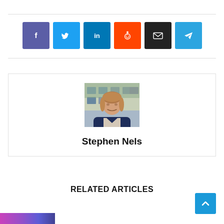[Figure (infographic): Row of 6 social share buttons: Facebook (purple-blue), Twitter (cyan), LinkedIn (dark blue), Reddit (orange-red), Email (dark/black), Telegram (light blue)]
[Figure (photo): Headshot of Stephen Nels, a man with medium-length brown hair wearing a dark navy blazer, standing outdoors in front of a building]
Stephen Nels
RELATED ARTICLES
[Figure (photo): Partial image strip at bottom left, colorful purple/blue tones]